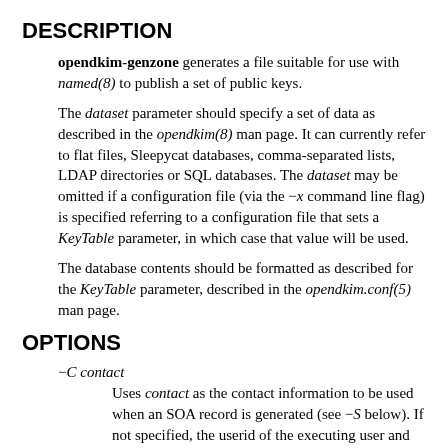DESCRIPTION
opendkim-genzone generates a file suitable for use with named(8) to publish a set of public keys.
The dataset parameter should specify a set of data as described in the opendkim(8) man page. It can currently refer to flat files, Sleepycat databases, comma-separated lists, LDAP directories or SQL databases. The dataset may be omitted if a configuration file (via the −x command line flag) is specified referring to a configuration file that sets a KeyTable parameter, in which case that value will be used.
The database contents should be formatted as described for the KeyTable parameter, described in the opendkim.conf(5) man page.
OPTIONS
−C contact
Uses contact as the contact information to be used when an SOA record is generated (see −S below). If not specified, the userid of the executing user and